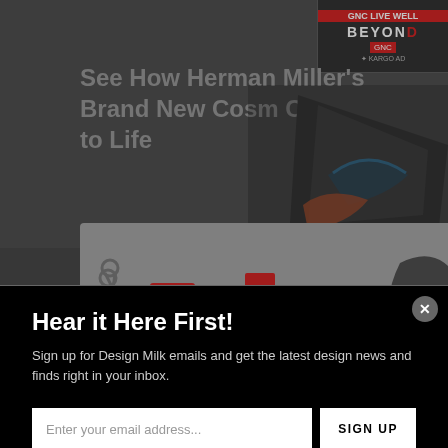See How Herman Miller's Brand New Cosm C... to Life
[Figure (screenshot): Email signup modal overlay on a website page for Design Milk newsletter. Dark background with popup dialog.]
Hear it Here First!
Sign up for Design Milk emails and get the latest design news and finds right in your inbox.
Enter your email address...
SIGN UP
Not right now.